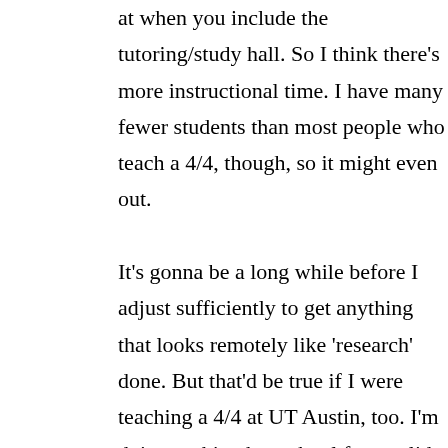at when you include the tutoring/study hall. So I think there's more instructional time. I have many fewer students than most people who teach a 4/4, though, so it might even out.

It's gonna be a long while before I adjust sufficiently to get anything that looks remotely like 'research' done. But that'd be true if I were teaching a 4/4 at UT Austin, too. I'm doing nothing but school for a solid 8 hours every day, and then I usually have another hour or so of stuff to do at home. I don't know how